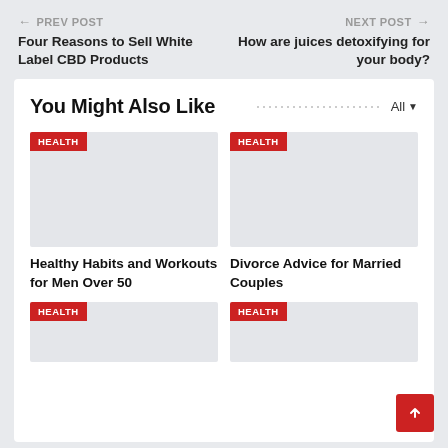← PREV POST | Four Reasons to Sell White Label CBD Products
NEXT POST → | How are juices detoxifying for your body?
You Might Also Like
[Figure (photo): Article thumbnail with HEALTH badge - Healthy Habits and Workouts for Men Over 50]
Healthy Habits and Workouts for Men Over 50
[Figure (photo): Article thumbnail with HEALTH badge - Divorce Advice for Married Couples]
Divorce Advice for Married Couples
[Figure (photo): Article thumbnail with HEALTH badge - bottom left]
[Figure (photo): Article thumbnail with HEALTH badge - bottom right]